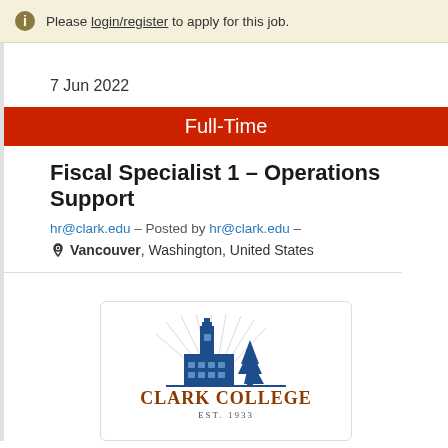Please login/register to apply for this job.
7 Jun 2022
Full-Time
Fiscal Specialist 1 – Operations Support
hr@clark.edu – Posted by hr@clark.edu –
Vancouver, Washington, United States
[Figure (logo): Clark College logo with building, tree, and text 'Clark College Est. 1933']